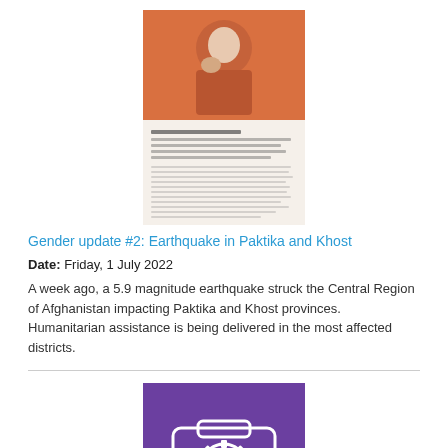[Figure (photo): Thumbnail image of a document cover for Gender update #2: Earthquake in Paktika and Khost, showing a woman and orange/beige background with text lines below.]
Gender update #2: Earthquake in Paktika and Khost
Date: Friday, 1 July 2022
A week ago, a 5.9 magnitude earthquake struck the Central Region of Afghanistan impacting Paktika and Khost provinces. Humanitarian assistance is being delivered in the most affected districts.
[Figure (photo): Thumbnail image of a purple booklet cover titled READY FOR RISK - A Business Continuity Management Toolkit for Women SME Entrepreneurs, with white line-art icons of briefcase and gear.]
Ready for Risk: A Business Continuity Management Toolkit for Women SME Entrepreneurs